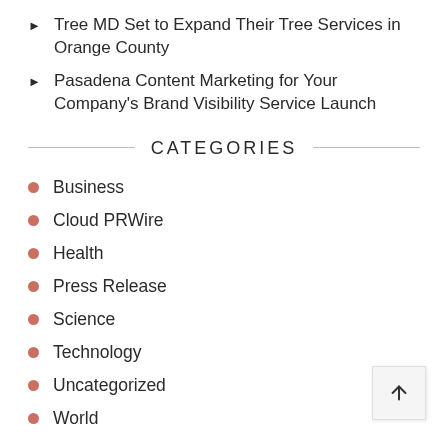Tree MD Set to Expand Their Tree Services in Orange County
Pasadena Content Marketing for Your Company's Brand Visibility Service Launch
CATEGORIES
Business
Cloud PRWire
Health
Press Release
Science
Technology
Uncategorized
World